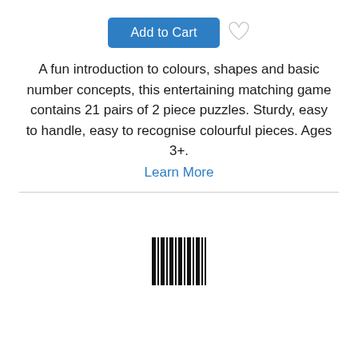[Figure (other): Add to Cart button (blue rectangle with white text) and a heart/wishlist icon to its right]
A fun introduction to colours, shapes and basic number concepts, this entertaining matching game contains 21 pairs of 2 piece puzzles. Sturdy, easy to handle, easy to recognise colourful pieces. Ages 3+.
Learn More
[Figure (other): Barcode / loading indicator with vertical bars of varying widths]